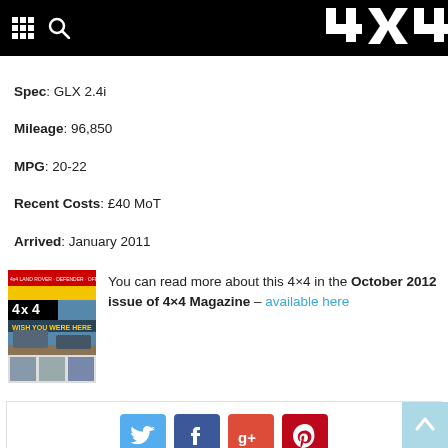4×4 Magazine header with navigation icons and logo
Spec: GLX 2.4i
Mileage: 96,850
MPG: 20-22
Recent Costs: £40 MoT
Arrived: January 2011
You can read more about this 4×4 in the October 2012 issue of 4×4 Magazine – available here
[Figure (photo): Cover of 4×4 Magazine October 2012 issue showing off-road vehicles with text 'WISH YOU WERE HERE']
Social sharing buttons: Twitter, Facebook, Google+, Pinterest